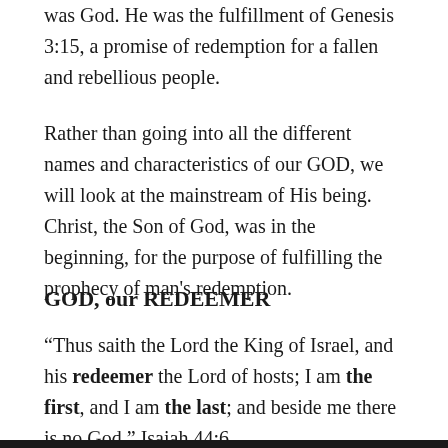was God. He was the fulfillment of Genesis 3:15, a promise of redemption for a fallen and rebellious people.
Rather than going into all the different names and characteristics of our GOD, we will look at the mainstream of His being. Christ, the Son of God, was in the beginning, for the purpose of fulfilling the prophecy of man's redemption.
GOD, our REDEEMER
“Thus saith the Lord the King of Israel, and his redeemer the Lord of hosts; I am the first, and I am the last; and beside me there is no God.” Isaiah 44:6